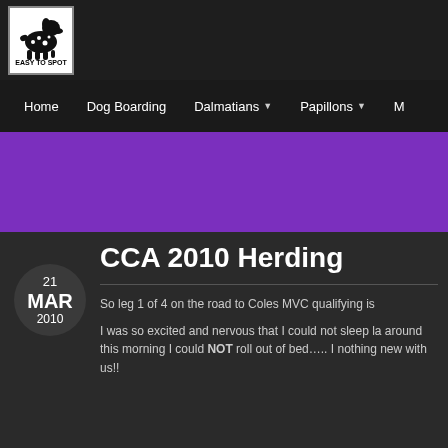[Figure (logo): Easy To Spot logo - black and white dalmatian dog silhouette with text 'EASY TO SPOT' below]
Home   Dog Boarding   Dalmatians ▾   Papillons ▾   M…
CCA 2010 Herding
So leg 1 of 4 on the road to Coles MVC qualifying is
I was so excited and nervous that I could not sleep la around this morning I could NOT roll out of bed….. I nothing new with us!!
21 MAR 2010